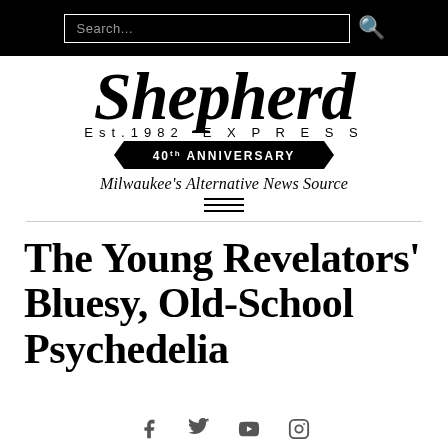Search...
[Figure (logo): Shepherd Express logo — 'Shepherd' in large bold italic serif, 'Est. 1982 EXPRESS' below, black banner with '40th ANNIVERSARY', tagline 'Milwaukee's Alternative News Source']
The Young Revelators' Bluesy, Old-School Psychedelia